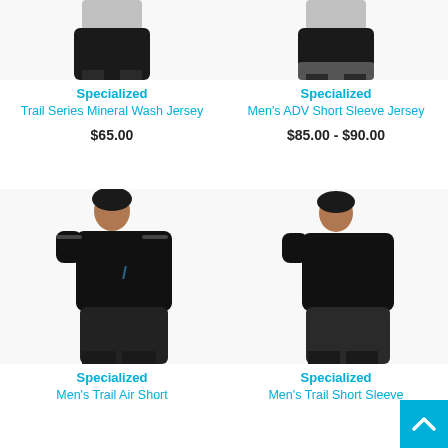[Figure (photo): Man wearing black shorts, cropped torso view, Specialized brand]
Specialized
Trail Series Mineral Wash Jersey
$65.00
[Figure (photo): Man wearing black and grey shorts, cropped torso view, Specialized brand]
Specialized
Men's ADV Short Sleeve Jersey
$85.00 - $90.00
[Figure (photo): Man wearing black short sleeve jersey with Specialized logo, full figure]
Specialized
Men's Trail Air Short
[Figure (photo): Man wearing plain black short sleeve jersey, full figure, Specialized brand]
Specialized
Men's Trail Short Sleeve